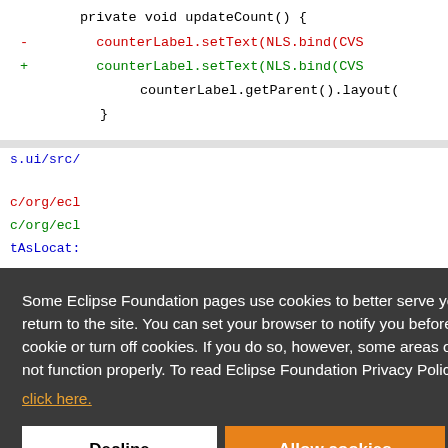[Figure (screenshot): Code diff screenshot showing Java method updateCount() with removed and added lines using counterLabel.setText(NLS.bind(...)) and counterLabel.getParent().layout(), followed by path references in blue and red/green code. An Eclipse Foundation cookie consent overlay dialog is displayed on top of the code, with text about cookies, a 'click here' link, and Decline / Allow cookies buttons. At the bottom is a diff path line: --- a/bundles/org/eclipse/team/cvs/ui/src/org/ecl...]